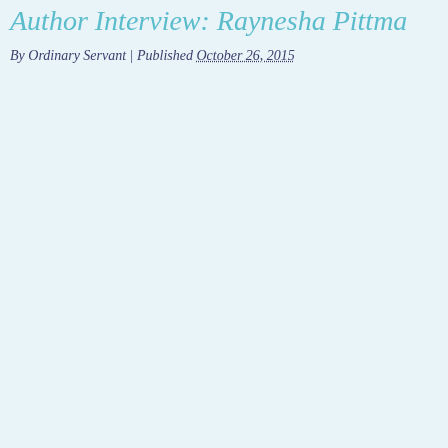Author Interview: Raynesha Pittma
By Ordinary Servant | Published October 26, 2015
[Figure (photo): Partial image strip visible at right edge of page, appears to be a dark photographic banner image cropped at the page boundary]